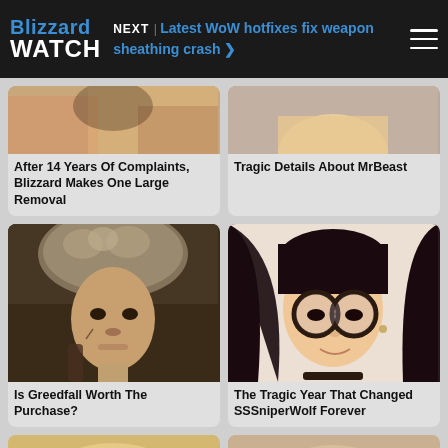Blizzard WATCH | NEXT | Latest WoW hotfixes fix weapon sheathing crash
[Figure (photo): Partial cropped game character image (top portion)]
After 14 Years Of Complaints, Blizzard Makes One Large Removal
[Figure (photo): Partial cropped photo of a person's face (top portion)]
Tragic Details About MrBeast
[Figure (photo): Fantasy game character with fur hat – Greedfall]
Is Greedfall Worth The Purchase?
[Figure (photo): Young woman with dark hair and round glasses – SSSniperWolf]
The Tragic Year That Changed SSSniperWolf Forever
[Figure (photo): Partial bottom row image left – cropped]
[Figure (photo): Partial bottom row image right – cropped]